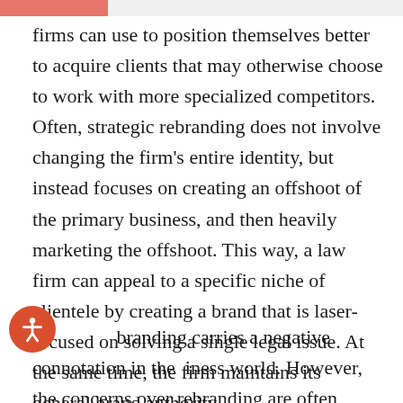firms can use to position themselves better to acquire clients that may otherwise choose to work with more specialized competitors. Often, strategic rebranding does not involve changing the firm's entire identity, but instead focuses on creating an offshoot of the primary business, and then heavily marketing the offshoot. This way, a law firm can appeal to a specific niche of clientele by creating a brand that is laser-focused on solving a single legal issue. At the same time, the firm maintains its general brand authority.
branding carries a negative connotation in the business world. However, the concerns over rebranding are often centered on total rebranding.